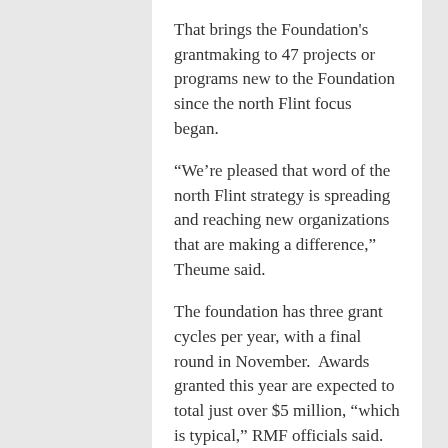That brings the Foundation's grantmaking to 47 projects or programs new to the Foundation since the north Flint focus began.
“We’re pleased that word of the north Flint strategy is spreading and reaching new organizations that are making a difference,” Theume said.
The foundation has three grant cycles per year, with a final round in November.  Awards granted this year are expected to total just over $5 million, “which is typical,” RMF officials said.
“With each grant cycle, we’re impressed with the organizations’